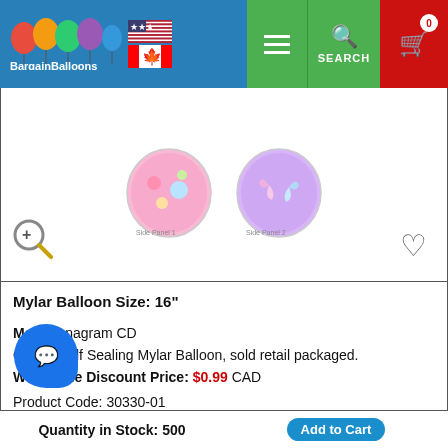BargainBalloons — navigation header with logo, US/Canada flags, hamburger menu, search, and cart (0 items)
[Figure (photo): Two round Mylar balloon product images (side panels) showing floral/butterfly designs on pink/purple backgrounds]
Mylar Balloon Size: 16"
Make: Anagram CD
Other: Self Sealing Mylar Balloon, sold retail packaged.
Wholesale Discount Price: $0.99 CAD
Product Code: 30330-01
Quantity in Stock: 500
Add to Cart
30" SuperShape Vintage Tiki Foil Balloon